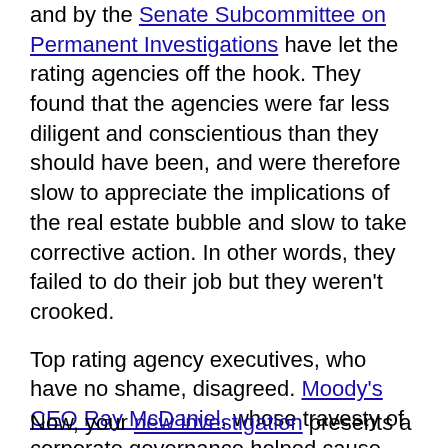and by the Senate Subcommittee on Permanent Investigations have let the rating agencies off the hook. They found that the agencies were far less diligent and conscientious than they should have been, and were therefore slow to appreciate the implications of the real estate bubble and slow to take corrective action. In other words, they failed to do their job but they weren't crooked.
Top rating agency executives, who have no shame, disagreed. Moody's CEO Ray McDaniel, whose travesty of corporate governance helped cause damage 100 times worse than that caused by Enron or the Madoff Fund, refused to accept any real blame. Neither he nor his top deputies have been held to account for their malfeasance and their cover-up.
Now, your new investigation presents a